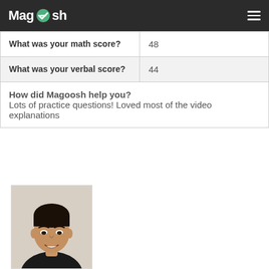Magoosh
| What was your math score? | 48 |
| What was your verbal score? | 44 |
| How did Magoosh help you?
Lots of practice questions! Loved most of the video explanations |  |
[Figure (photo): Portrait photo of a young Asian male student smiling, wearing a black shirt, photographed against a light beige wall.]